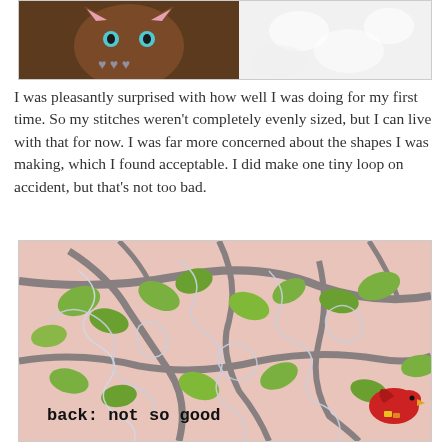[Figure (photo): Close-up photo of a quilted fabric showing a brown background with cat and heart design on the left, and white fluffy fabric on the right.]
I was pleasantly surprised with how well I was doing for my first time. So my stitches weren't completely evenly sized, but I can live with that for now. I was far more concerned about the shapes I was making, which I found acceptable. I did make one tiny loop on accident, but that's not too bad.
[Figure (photo): Close-up photo of the back of a quilt showing pink fabric with green leaves and gray branches, with white free-motion quilting stitches visible. A red bird is partially visible in the lower right. Text overlay reads 'back: not so good'.]
back: not so good